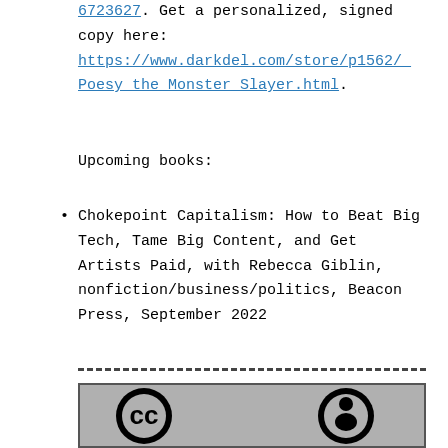6723627. Get a personalized, signed copy here: https://www.darkdel.com/store/p1562/_Poesy_the_Monster_Slayer.html.
Upcoming books:
Chokepoint Capitalism: How to Beat Big Tech, Tame Big Content, and Get Artists Paid, with Rebecca Giblin, nonfiction/business/politics, Beacon Press, September 2022
[Figure (illustration): Creative Commons license icons showing CC and attribution (person) symbols on a grey background with dashed border above]